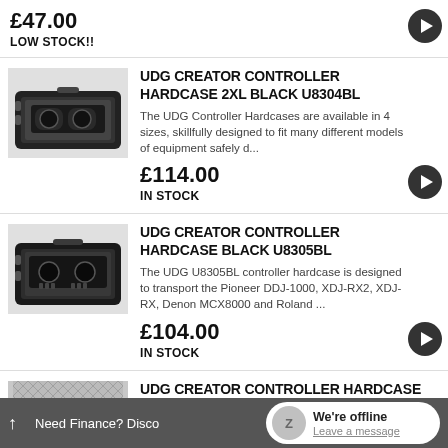£47.00
LOW STOCK!!
[Figure (photo): Black DJ controller hardcase (2XL size), open, showing padded interior with a DJ controller inside]
UDG CREATOR CONTROLLER HARDCASE 2XL BLACK U8304BL
The UDG Controller Hardcases are available in 4 sizes, skillfully designed to fit many different models of equipment safely d...
£114.00
IN STOCK
[Figure (photo): Black DJ controller hardcase (standard size), open, showing interior with a DJ controller inside]
UDG CREATOR CONTROLLER HARDCASE BLACK U8305BL
The UDG U8305BL controller hardcase is designed to transport the Pioneer DDJ-1000, XDJ-RX2, XDJ-RX, Denon MCX8000 and Roland ...
£104.00
IN STOCK
[Figure (photo): Black DJ controller hardcase (extra large), partially visible]
UDG CREATOR CONTROLLER HARDCASE EXTRA LARGE BLACK MK2 U8303BL
Need Finance? Disco
We're offline
Leave a message